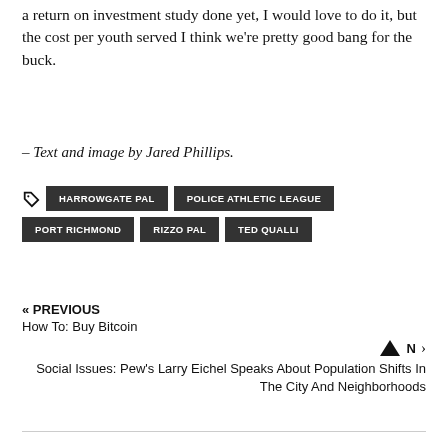a return on investment study done yet, I would love to do it, but the cost per youth served I think we're pretty good bang for the buck.
– Text and image by Jared Phillips.
Tags: HARROWGATE PAL | POLICE ATHLETIC LEAGUE | PORT RICHMOND | RIZZO PAL | TED QUALLI
« PREVIOUS
How To: Buy Bitcoin
N › Social Issues: Pew's Larry Eichel Speaks About Population Shifts In The City And Neighborhoods